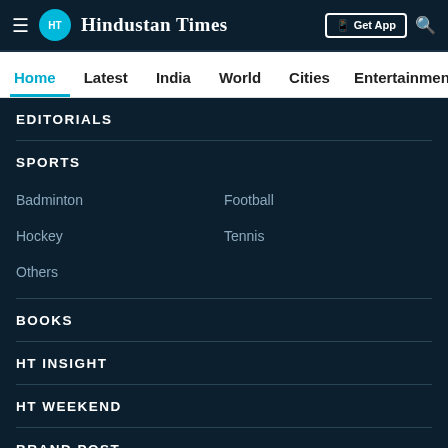Hindustan Times — Get App
Home | Latest | India | World | Cities | Entertainment
EDITORIALS
SPORTS
Badminton
Football
Hockey
Tennis
Others
BOOKS
HT INSIGHT
HT WEEKEND
BRAND POST